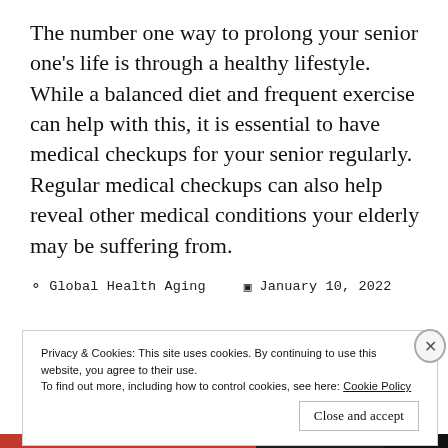The number one way to prolong your senior one's life is through a healthy lifestyle. While a balanced diet and frequent exercise can help with this, it is essential to have medical checkups for your senior regularly. Regular medical checkups can also help reveal other medical conditions your elderly may be suffering from.
Global Health Aging   January 10, 2022
Privacy & Cookies: This site uses cookies. By continuing to use this website, you agree to their use.
To find out more, including how to control cookies, see here: Cookie Policy
[Close and accept]